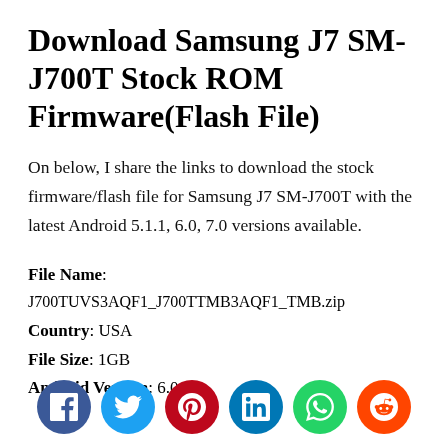Download Samsung J7 SM-J700T Stock ROM Firmware(Flash File)
On below, I share the links to download the stock firmware/flash file for Samsung J7 SM-J700T with the latest Android 5.1.1, 6.0, 7.0 versions available.
File Name: J700TUVS3AQF1_J700TTMB3AQF1_TMB.zip
Country: USA
File Size: 1GB
Android Version: 6.0